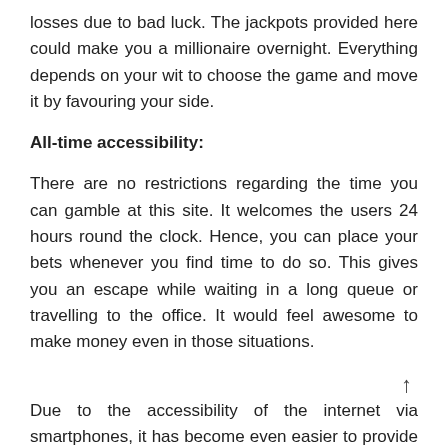losses due to bad luck. The jackpots provided here could make you a millionaire overnight. Everything depends on your wit to choose the game and move it by favouring your side.
All-time accessibility:
There are no restrictions regarding the time you can gamble at this site. It welcomes the users 24 hours round the clock. Hence, you can place your bets whenever you find time to do so. This gives you an escape while waiting in a long queue or travelling to the office. It would feel awesome to make money even in those situations.
Due to the accessibility of the internet via smartphones, it has become even easier to provide the services for the bettors without restrictions. The site is compatible with every device such as smartphones, laptops, tablets and